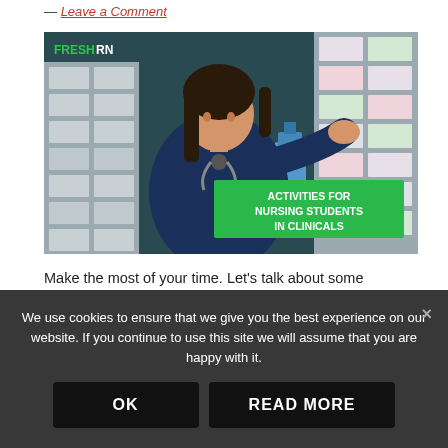— Leave a Comment
[Figure (photo): A nursing student in dark blue scrubs with a stethoscope stands at a supply cabinet in a clinical setting. A green banner overlay reads 'ACTIVITIES FOR NURSING STUDENTS IN CLINICALS'. The FreshRN logo is visible in the upper left corner.]
Make the most of your time. Let's talk about some
We use cookies to ensure that we give you the best experience on our website. If you continue to use this site we will assume that you are happy with it.
OK
READ MORE